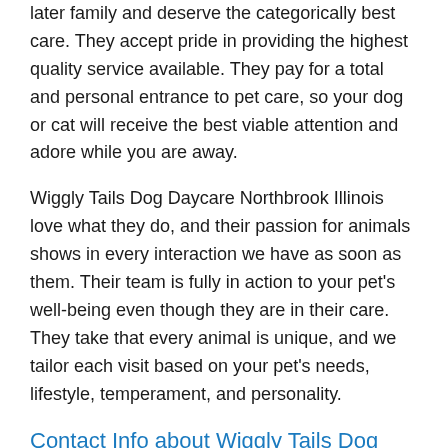later family and deserve the categorically best care. They accept pride in providing the highest quality service available. They pay for a total and personal entrance to pet care, so your dog or cat will receive the best viable attention and adore while you are away.
Wiggly Tails Dog Daycare Northbrook Illinois love what they do, and their passion for animals shows in every interaction we have as soon as them. Their team is fully in action to your pet's well-being even though they are in their care. They take that every animal is unique, and we tailor each visit based on your pet's needs, lifestyle, temperament, and personality.
Contact Info about Wiggly Tails Dog Daycare Northbrook Illinois